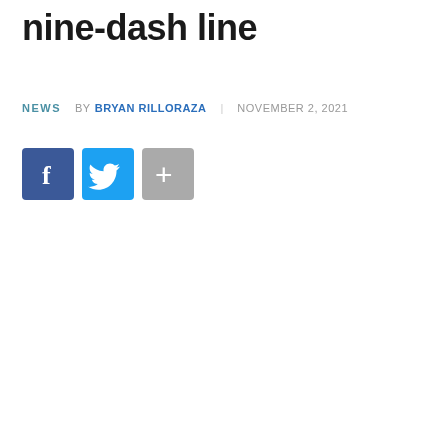nine-dash line
NEWS   BY BRYAN RILLORAZA   NOVEMBER 2, 2021
[Figure (other): Social media share buttons: Facebook (blue), Twitter (light blue), and More/Plus (gray)]